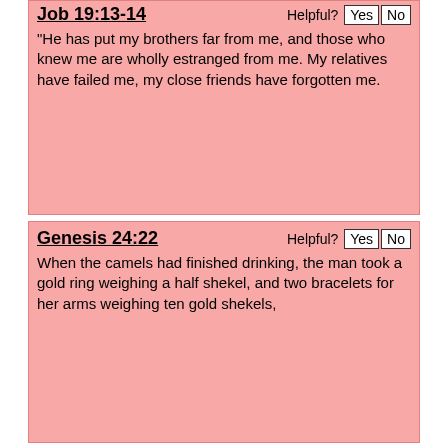Job 19:13-14  Helpful? Yes No
“He has put my brothers far from me, and those who knew me are wholly estranged from me. My relatives have failed me, my close friends have forgotten me.
Genesis 24:22  Helpful? Yes No
When the camels had finished drinking, the man took a gold ring weighing a half shekel, and two bracelets for her arms weighing ten gold shekels,
Hebrews 13:3  Helpful? Yes No